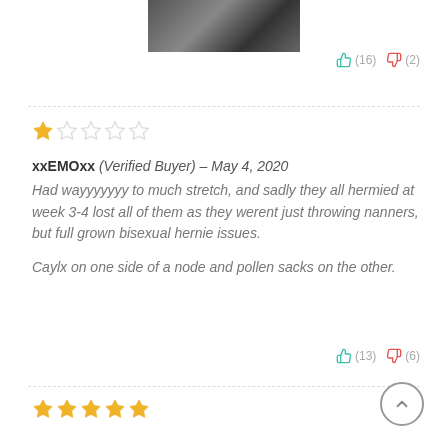[Figure (photo): Partial photo of a person at the top of the page]
(16) (2) thumbs up/down votes
1 star out of 5 rating
xxEMOxx (Verified Buyer) – May 4, 2020
Had wayyyyyyy to much stretch, and sadly they all hermied at week 3-4 lost all of them as they werent just throwing nanners, but full grown bisexual hernie issues.

Caylx on one side of a node and pollen sacks on the other.
(13) (6) thumbs up/down votes
5 stars out of 5 rating